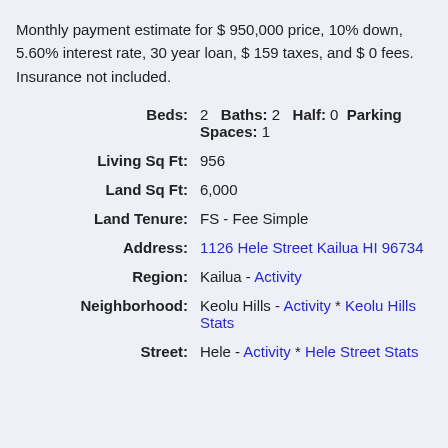Monthly payment estimate for $ 950,000 price, 10% down, 5.60% interest rate, 30 year loan, $ 159 taxes, and $ 0 fees. Insurance not included.
Beds: 2  Baths: 2  Half: 0  Parking Spaces: 1
Living Sq Ft: 956
Land Sq Ft: 6,000
Land Tenure: FS - Fee Simple
Address: 1126 Hele Street Kailua HI 96734
Region: Kailua - Activity
Neighborhood: Keolu Hills - Activity * Keolu Hills Stats
Street: Hele - Activity * Hele Street Stats